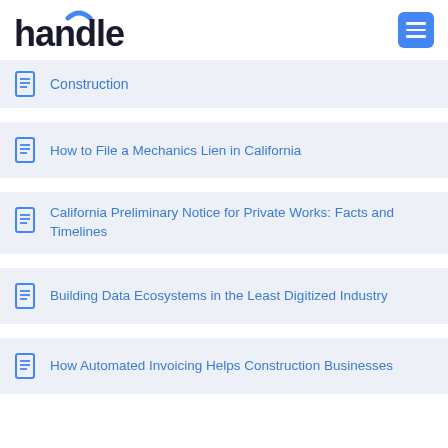handle
Construction
How to File a Mechanics Lien in California
California Preliminary Notice for Private Works: Facts and Timelines
Building Data Ecosystems in the Least Digitized Industry
How Automated Invoicing Helps Construction Businesses